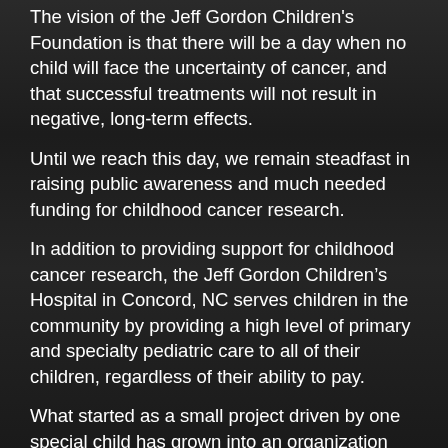The vision of the Jeff Gordon Children's Foundation is that there will be a day when no child will face the uncertainty of cancer, and that successful treatments will not result in negative, long-term effects.
Until we reach this day, we remain steadfast in raising public awareness and much needed funding for childhood cancer research.
In addition to providing support for childhood cancer research, the Jeff Gordon Children's Hospital in Concord, NC serves children in the community by providing a high level of primary and specialty pediatric care to all of their children, regardless of their ability to pay.
What started as a small project driven by one special child has grown into an organization that has raised more than $19 million for children's health organizations since its establishment in 1999. In 2011, Jeff Gordon Children's Foundation extended its efforts globally to bring pediatric cancer care to Rwanda, Africa.